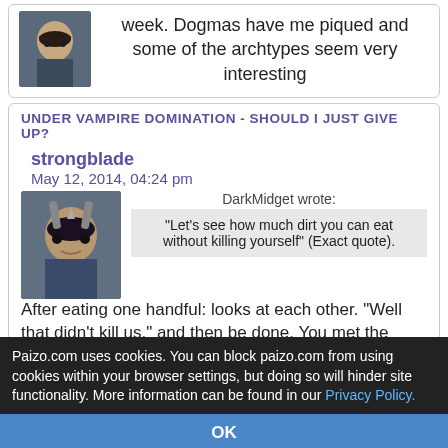week. Dogmas have me piqued and some of the archtypes seem very interesting
UNDER VAMPIRE DOMINATION - SHOULD I JUST GIVE UP?
strongblade
May 12, 2014, 04:24 pm
DarkMidget wrote:
"Let's see how much dirt you can eat without killing yourself" (Exact quote).
After eating one handful: looks at each other. "Well that didn't kill us." and then be done. You met the criteria. How much dirt can you eat without killing yourself? One handful. Ate it and did not die
Paizo.com uses cookies. You can block paizo.com from using cookies within your browser settings, but doing so will hinder site functionality. More information can be found in our Privacy Policy.
OK